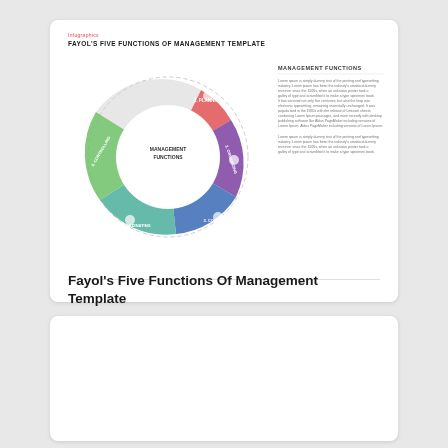Infographics
FAYOL'S FIVE FUNCTIONS OF MANAGEMENT TEMPLATE
[Figure (infographic): Circular infographic showing Fayol's Five Functions of Management: Planning, Organizing, Commanding, Coordinating, Controlling — arranged in a circular diagram with colored segments (red, purple, blue, green) and icons, with text panel on the right titled 'MANAGEMENT FUNCTIONS' and lorem ipsum body text.]
Fayol's Five Functions Of Management Template